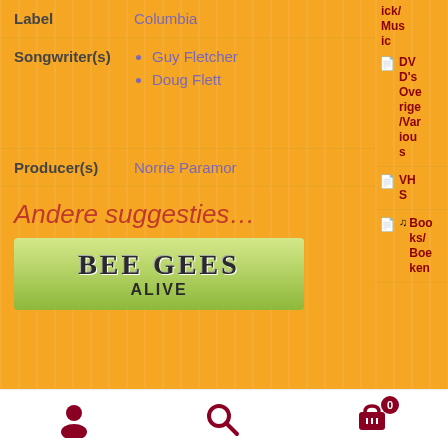| Label | Columbia |
| Songwriter(s) | Guy Fletcher
Doug Flett |
| Producer(s) | Norrie Paramor |
Andere suggesties...
[Figure (photo): Bee Gees Alive album cover or product image with green background]
ICK/ Music
DVD's Overige/Various
VHS
Books/Boeken